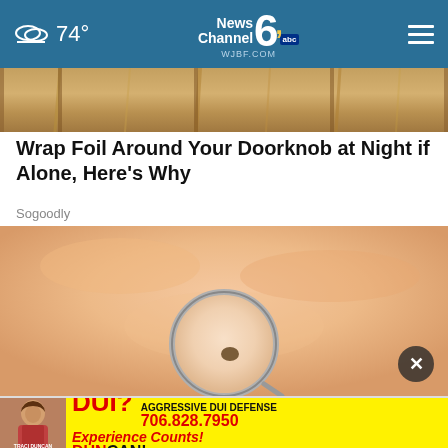74° | News Channel 6 abc WJBF.COM
[Figure (photo): Top strip showing wooden door/cabinet surface in warm brown tones]
Wrap Foil Around Your Doorknob at Night if Alone, Here's Why
Sogoodly
[Figure (photo): Close-up of skin with a magnifying glass showing a mole or skin blemish]
[Figure (photo): Advertisement banner: DUI? AGGRESSIVE DUI DEFENSE Experience Counts! 706.828.7950 DUNCAN! Duncan Law Firm LLC LET US HELP! CLICK NOW!]